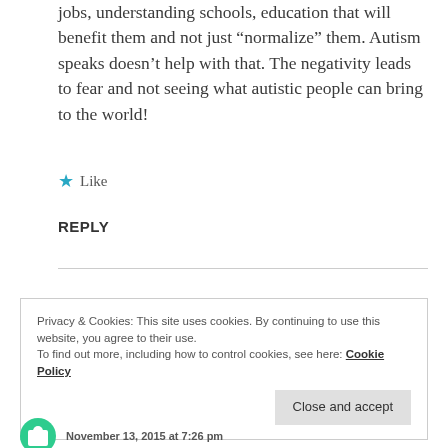jobs, understanding schools, education that will benefit them and not just “normalize” them. Autism speaks doesn’t help with that. The negativity leads to fear and not seeing what autistic people can bring to the world!
★ Like
REPLY
Privacy & Cookies: This site uses cookies. By continuing to use this website, you agree to their use. To find out more, including how to control cookies, see here: Cookie Policy
Close and accept
November 13, 2015 at 7:26 pm